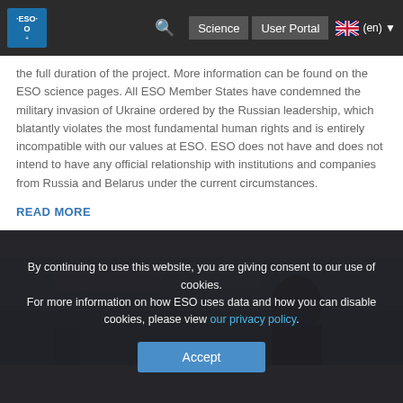ESO navigation bar with logo, search, Science, User Portal, language selector (en)
the full duration of the project. More information can be found on the ESO science pages. All ESO Member States have condemned the military invasion of Ukraine ordered by the Russian leadership, which blatantly violates the most fundamental human rights and is entirely incompatible with our values at ESO. ESO does not have and does not intend to have any official relationship with institutions and companies from Russia and Belarus under the current circumstances.
READ MORE
[Figure (photo): A person wearing a blue face mask and dark jacket in an office or indoor facility with ceiling lights and white walls.]
By continuing to use this website, you are giving consent to our use of cookies.
For more information on how ESO uses data and how you can disable cookies, please view our privacy policy.